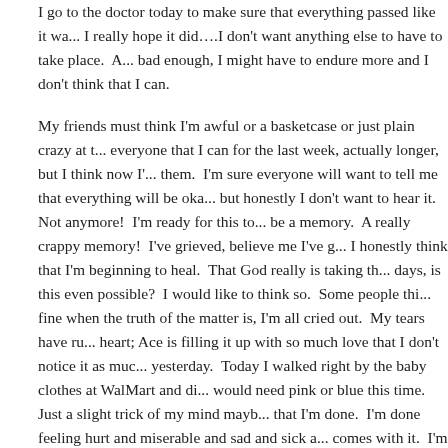I go to the doctor today to make sure that everything passed like it wa... I really hope it did….I don't want anything else to have to take place.  bad enough, I might have to endure more and I don't think that I can.
My friends must think I'm awful or a basketcase or just plain crazy at t... everyone that I can for the last week, actually longer, but I think now I'... them.  I'm sure everyone will want to tell me that everything will be oka... but honestly I don't want to hear it.  Not anymore!  I'm ready for this to... be a memory.  A really crappy memory!  I've grieved, believe me I've g... I honestly think that I'm beginning to heal.  That God really is taking th... days, is this even possible?  I would like to think so.  Some people thi... fine when the truth of the matter is, I'm all cried out.  My tears have ru... heart; Ace is filling it up with so much love that I don't notice it as muc... yesterday.  Today I walked right by the baby clothes at WalMart and di... would need pink or blue this time.  Just a slight trick of my mind mayb... that I'm done.  I'm done feeling hurt and miserable and sad and sick a... comes with it.  I'm ready to think of what next month might bring, or th... ready to get back to living my life instead of just watching it happen fro...
I miss laughing for no reason at all, and sleeping late without my famil... bedroom crying my eyes out, and I miss exercising (which I haven't re... everyday and I hate more than anything), and I miss talking on the ph... this will come up, and I miss my friends and family just being normal.